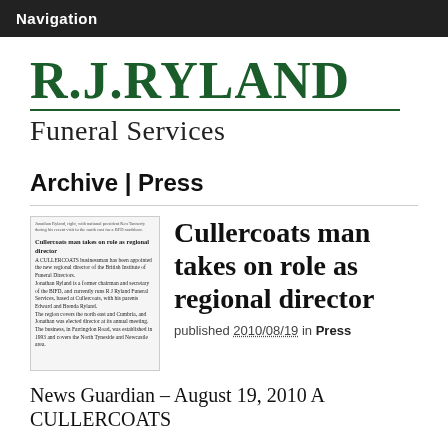Navigation
R.J.RYLAND Funeral Services
Archive | Press
[Figure (screenshot): Thumbnail image of a newspaper clipping about Cullercoats man takes on role as regional director]
Cullercoats man takes on role as regional director
published 2010/08/19 in Press
News Guardian – August 19, 2010 A CULLERCOATS